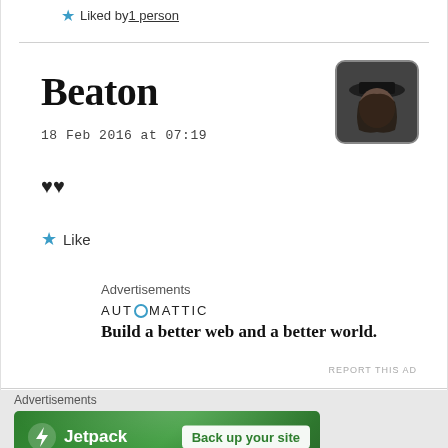★ Liked by 1 person
Beaton
[Figure (photo): Avatar photo of a person wearing a hat]
18 Feb 2016 at 07:19
♥♥
★ Like
Advertisements
AUTOMATTIC
Build a better web and a better world.
REPORT THIS AD
Advertisements
[Figure (infographic): Jetpack banner advertisement: green background with Jetpack logo and 'Back up your site' button]
REPORT THIS AD